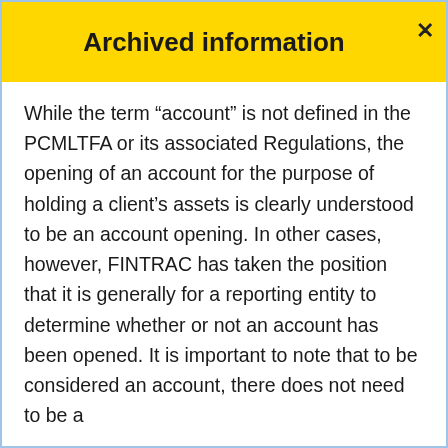Archived information
While the term “account” is not defined in the PCMLTFA or its associated Regulations, the opening of an account for the purpose of holding a client’s assets is clearly understood to be an account opening. In other cases, however, FINTRAC has taken the position that it is generally for a reporting entity to determine whether or not an account has been opened. It is important to note that to be considered an account, there does not need to be a